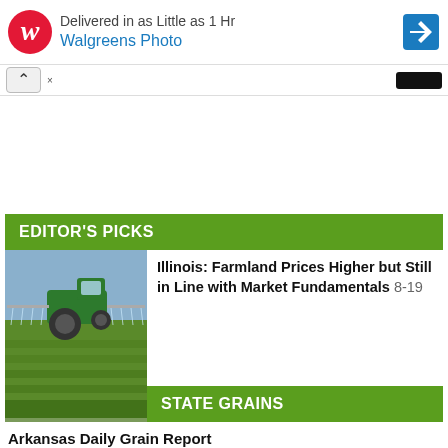[Figure (screenshot): Walgreens Photo advertisement banner with red W logo, blue text 'Walgreens Photo', headline 'Delivered in as Little as 1 Hr', and blue navigation arrow icon]
[Figure (screenshot): Ad close button row with up-chevron collapse button and black button on right]
EDITOR'S PICKS
[Figure (photo): Tractor spraying crops in a green farmland field under a blue sky]
Illinois: Farmland Prices Higher but Still in Line with Market Fundamentals 8-19
STATE GRAINS
Arkansas Daily Grain Report
Gulf Port Grain